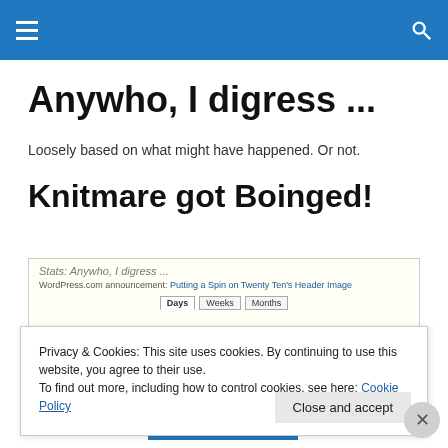Anywho, I digress ... [navigation bar]
Anywho, I digress ...
Loosely based on what might have happened. Or not.
Knitmare got Boinged!
[Figure (screenshot): Screenshot of WordPress stats page for 'Anywho, I digress ...' showing Days/Weeks/Months tabs]
Privacy & Cookies: This site uses cookies. By continuing to use this website, you agree to their use.
To find out more, including how to control cookies, see here: Cookie Policy
Close and accept
Advertisements